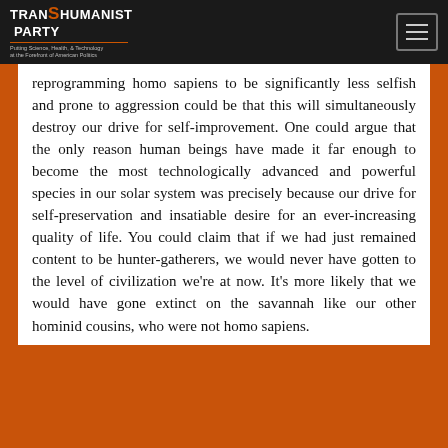TRANSHUMANIST PARTY — Putting Science, Health, & Technology at the Forefront of American Politics
reprogramming homo sapiens to be significantly less selfish and prone to aggression could be that this will simultaneously destroy our drive for self-improvement. One could argue that the only reason human beings have made it far enough to become the most technologically advanced and powerful species in our solar system was precisely because our drive for self-preservation and insatiable desire for an ever-increasing quality of life. You could claim that if we had just remained content to be hunter-gatherers, we would never have gotten to the level of civilization we're at now. It's more likely that we would have gone extinct on the savannah like our other hominid cousins, who were not homo sapiens.